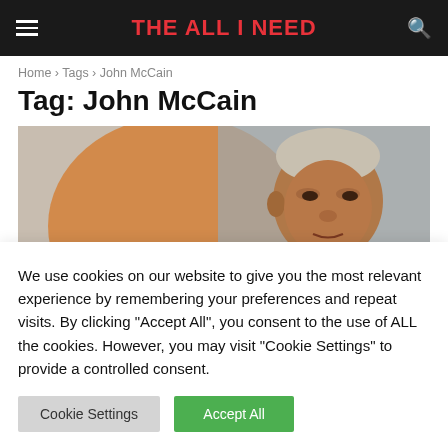THE ALL I NEED
Home › Tags › John McCain
Tag: John McCain
[Figure (photo): A man with grey hair in a dark suit, photographed against an orange and grey background.]
We use cookies on our website to give you the most relevant experience by remembering your preferences and repeat visits. By clicking "Accept All", you consent to the use of ALL the cookies. However, you may visit "Cookie Settings" to provide a controlled consent.
Cookie Settings   Accept All